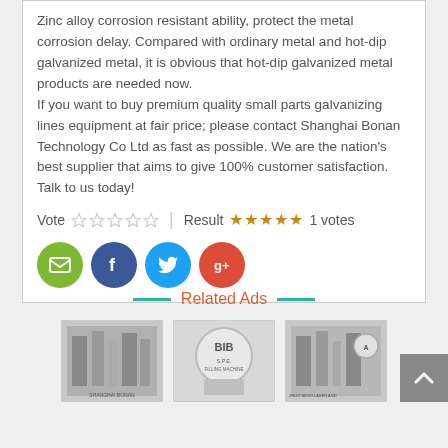Zinc alloy corrosion resistant ability, protect the metal corrosion delay. Compared with ordinary metal and hot-dip galvanized metal, it is obvious that hot-dip galvanized metal products are needed now.
If you want to buy premium quality small parts galvanizing lines equipment at fair price; please contact Shanghai Bonan Technology Co Ltd as fast as possible. We are the nation's best supplier that aims to give 100% customer satisfaction. Talk to us today!
Vote ☆☆☆☆☆ | Result ★★★★★ 1 votes
[Figure (infographic): Social sharing buttons: Email (green circle), Facebook (dark blue circle), Twitter (light blue circle), Google+ (red circle)]
Related Ads
[Figure (photo): Three related ad thumbnail images showing industrial galvanizing equipment, and a scroll-to-top button]